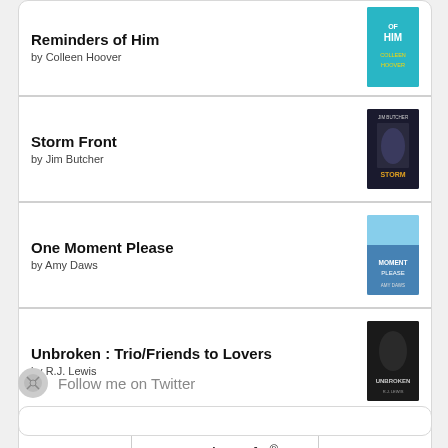Reminders of Him by Colleen Hoover
Storm Front by Jim Butcher
One Moment Please by Amy Daws
Unbroken : Trio/Friends to Lovers by R.J. Lewis
[Figure (logo): goodreads button/logo with rounded rectangle border]
Follow me on Twitter